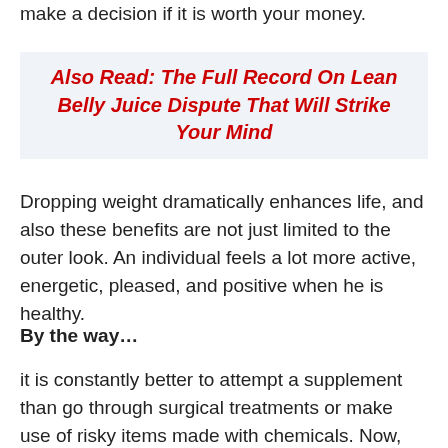make a decision if it is worth your money.
Also Read: The Full Record On Lean Belly Juice Dispute That Will Strike Your Mind
Dropping weight dramatically enhances life, and also these benefits are not just limited to the outer look. An individual feels a lot more active, energetic, pleased, and positive when he is healthy.
By the way…
it is constantly better to attempt a supplement than go through surgical treatments or make use of risky items made with chemicals. Now, the weight reduction sector has numerous hundreds of items, yet only a few of them cling their